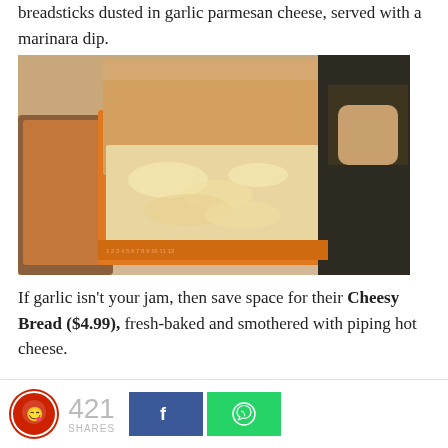breadsticks dusted in garlic parmesan cheese, served with a marinara dip.
[Figure (photo): Open orange pizza box containing cheesy breadsticks on a table with pizza nearby, held open by a person's hands.]
If garlic isn't your jam, then save space for their Cheesy Bread ($4.99), fresh-baked and smothered with piping hot cheese.
421 SHARES [Facebook button] [WhatsApp button]